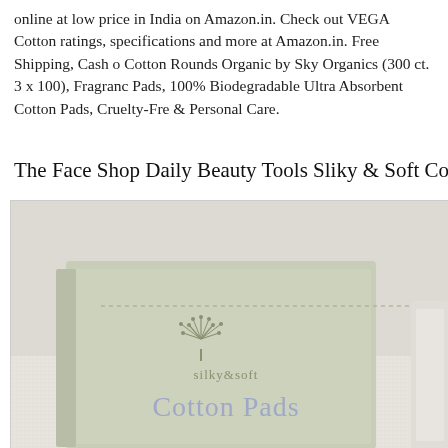online at low price in India on Amazon.in. Check out VEGA Cotton ratings, specifications and more at Amazon.in. Free Shipping, Cash o Cotton Rounds Organic by Sky Organics (300 ct. 3 x 100), Fragranc Pads, 100% Biodegradable Ultra Absorbent Cotton Pads, Cruelty-Fre & Personal Care.
The Face Shop Daily Beauty Tools Sliky & Soft Cotto
[Figure (photo): Product photo of a green/sage colored box packaging labeled 'silky & soft Cotton Pads' with a tree logo, shown on a light textured background. The box is partially cropped on the right side.]